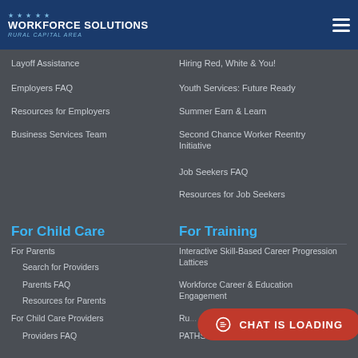Workforce Solutions Rural Capital Area
Layoff Assistance
Hiring Red, White & You!
Employers FAQ
Youth Services: Future Ready
Resources for Employers
Summer Earn & Learn
Business Services Team
Second Chance Worker Reentry Initiative
Job Seekers FAQ
Resources for Job Seekers
For Child Care
For Training
For Parents
Search for Providers
Parents FAQ
Resources for Parents
For Child Care Providers
Providers FAQ
Interactive Skill-Based Career Progression Lattices
Workforce Career & Education Engagement
Ru...
PATHS for Texas
CHAT IS LOADING